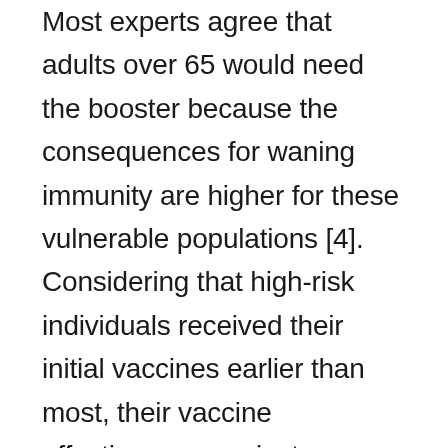Most experts agree that adults over 65 would need the booster because the consequences for waning immunity are higher for these vulnerable populations [4]. Considering that high-risk individuals received their initial vaccines earlier than most, their vaccine effectiveness against infections has decreased. The Israel study examined the effect of the Pfizer booster shot after having the initial two dose five months before, and found that “adding a third dose was estimated to be 93% effective in preventing COVID-19-related